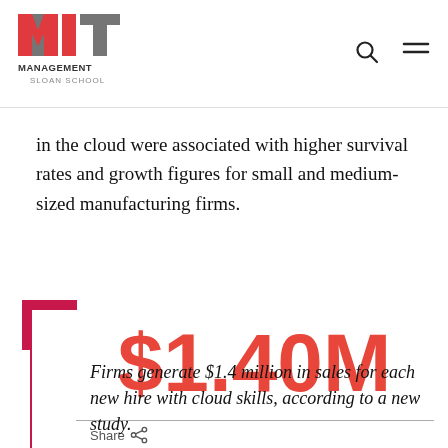[Figure (logo): MIT Management Sloan School logo with MIT in red/gray letters]
in the cloud were associated with higher survival rates and growth figures for small and medium-sized manufacturing firms.
[Figure (infographic): Large red stat: $1.40M with pink bracket corner decoration and horizontal divider]
Share
Firms generate $1.4 million in sales for each new hire with cloud skills, according to a new study.